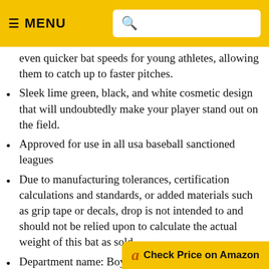MENU [search]
even quicker bat speeds for young athletes, allowing them to catch up to faster pitches.
Sleek lime green, black, and white cosmetic design that will undoubtedly make your player stand out on the field.
Approved for use in all usa baseball sanctioned leagues
Due to manufacturing tolerances, certification calculations and standards, or added materials such as grip tape or decals, drop is not intended to and should not be relied upon to calculate the actual weight of this bat as sold.
Department name: Boys
Check Price on Amazon